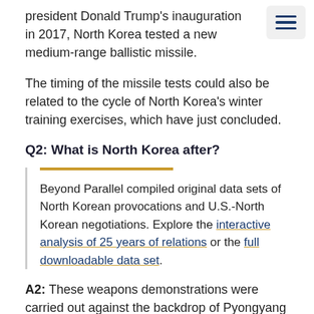president Donald Trump's inauguration in 2017, North Korea tested a new medium-range ballistic missile.
The timing of the missile tests could also be related to the cycle of North Korea's winter training exercises, which have just concluded.
Q2: What is North Korea after?
Beyond Parallel compiled original data sets of North Korean provocations and U.S.-North Korean negotiations. Explore the interactive analysis of 25 years of relations or the full downloadable data set.
A2: These weapons demonstrations were carried out against the backdrop of Pyongyang rejecting…